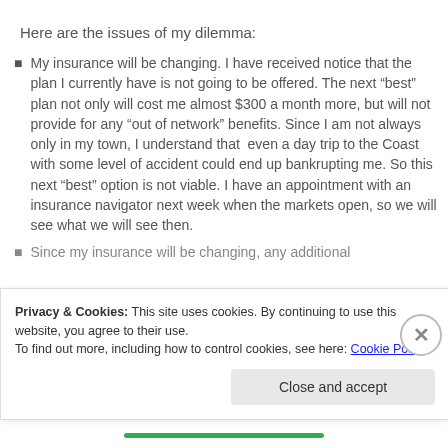Here are the issues of my dilemma:
My insurance will be changing. I have received notice that the plan I currently have is not going to be offered. The next “best” plan not only will cost me almost $300 a month more, but will not provide for any “out of network” benefits. Since I am not always only in my town, I understand that even a day trip to the Coast with some level of accident could end up bankrupting me. So this next “best” option is not viable. I have an appointment with an insurance navigator next week when the markets open, so we will see what we will see then.
Since my insurance will be changing, any additional
Privacy & Cookies: This site uses cookies. By continuing to use this website, you agree to their use.
To find out more, including how to control cookies, see here: Cookie Policy